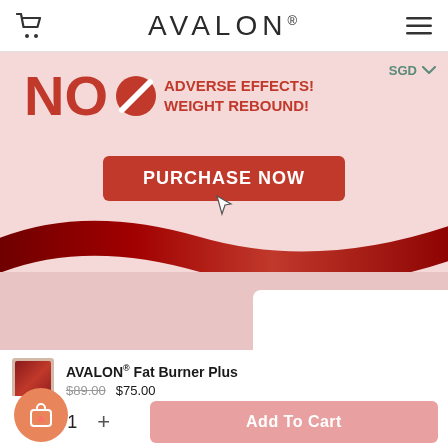AVALON®
[Figure (illustration): Promotional banner with pink background showing 'NO (with prohibition circle icon) ADVERSE EFFECTS! WEIGHT REBOUND!' in bold red text, a red 'PURCHASE NOW' button, and a decorative red ribbon wave at the bottom. SGD currency dropdown in top right corner.]
AVALON® Fat Burner Plus $89.00 $75.00
e Box (60's)
- 1 + Add To Cart